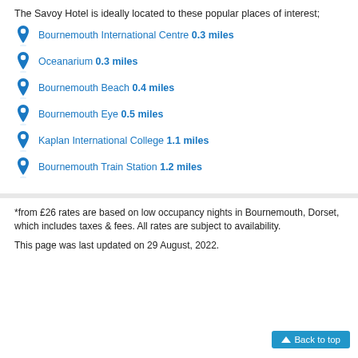The Savoy Hotel is ideally located to these popular places of interest;
Bournemouth International Centre 0.3 miles
Oceanarium 0.3 miles
Bournemouth Beach 0.4 miles
Bournemouth Eye 0.5 miles
Kaplan International College 1.1 miles
Bournemouth Train Station 1.2 miles
*from £26 rates are based on low occupancy nights in Bournemouth, Dorset, which includes taxes & fees. All rates are subject to availability.
This page was last updated on 29 August, 2022.